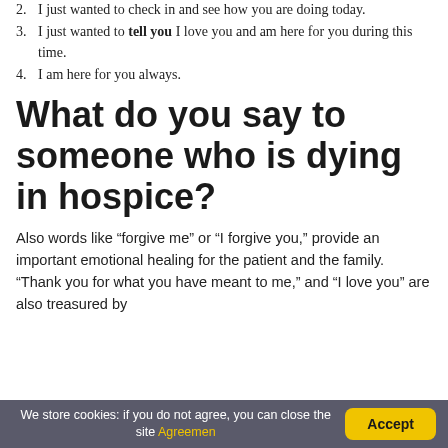2. I just wanted to check in and see how you are doing today.
3. I just wanted to tell you I love you and am here for you during this time.
4. I am here for you always.
What do you say to someone who is dying in hospice?
Also words like “forgive me” or “I forgive you,” provide an important emotional healing for the patient and the family. “Thank you for what you have meant to me,” and “I love you” are also treasured by
We store cookies: if you do not agree, you can close the site Agreemen